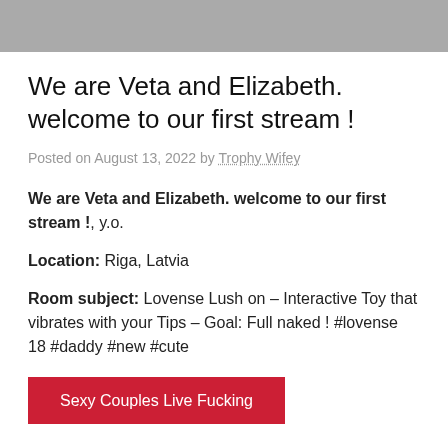[Figure (other): Gray banner bar at top of page]
We are Veta and Elizabeth. welcome to our first stream !
Posted on August 13, 2022 by Trophy Wifey
We are Veta and Elizabeth. welcome to our first stream !, y.o.
Location: Riga, Latvia
Room subject: Lovense Lush on – Interactive Toy that vibrates with your Tips – Goal: Full naked ! #lovense 18 #daddy #new #cute
Sexy Couples Live Fucking